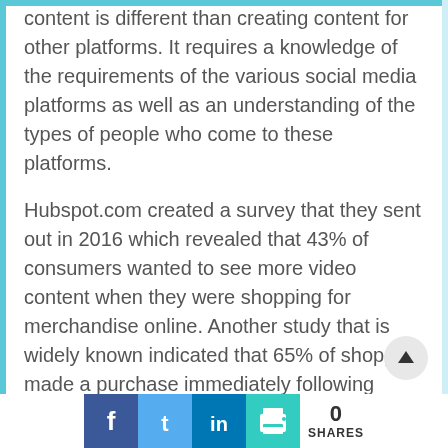content is different than creating content for other platforms. It requires a knowledge of the requirements of the various social media platforms as well as an understanding of the types of people who come to these platforms.
Hubspot.com created a survey that they sent out in 2016 which revealed that 43% of consumers wanted to see more video content when they were shopping for merchandise online. Another study that is widely known indicated that 65% of shoppers made a purchase immediately following viewing a video on the item.
This kind of statistics cannot be ignored, and they should serve as a reminder that people respond to
0 SHARES